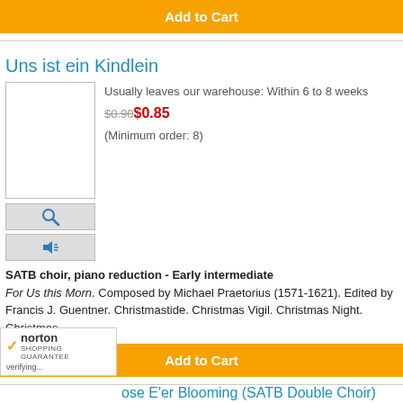Uns ist ein Kindlein
Usually leaves our warehouse: Within 6 to 8 weeks
$0.90 $0.85
(Minimum order: 8)
SATB choir, piano reduction - Early intermediate
For Us this Morn. Composed by Michael Praetorius (1571-1621). Edited by Francis J. Guentner. Christmastide. Christmas Vigil. Christmas Night. Christmas
ose E'er Blooming (SATB Double Choir)